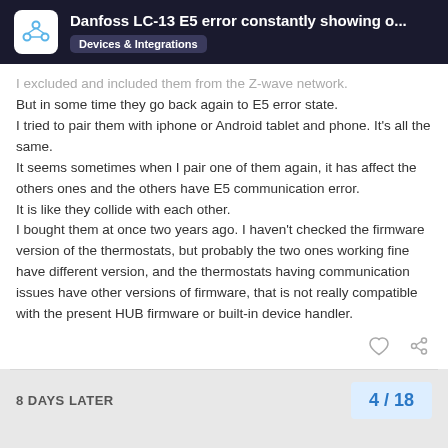Danfoss LC-13 E5 error constantly showing o… | Devices & Integrations
I excluded and included them from the Z-wave network. But in some time they go back again to E5 error state. I tried to pair them with iphone or Android tablet and phone. It's all the same. It seems sometimes when I pair one of them again, it has affect the others ones and the others have E5 communication error. It is like they collide with each other. I bought them at once two years ago. I haven't checked the firmware version of the thermostats, but probably the two ones working fine have different version, and the thermostats having communication issues have other versions of firmware, that is not really compatible with the present HUB firmware or built-in device handler.
8 DAYS LATER
4 / 18